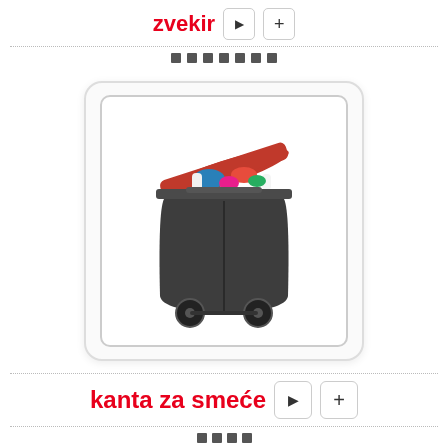zvekir
□ □□□□ □
[Figure (photo): A dark grey wheeled recycling/trash bin with a red lid open, overflowing with various plastic bottles and colorful recyclable items.]
kanta za smeće
□□□□